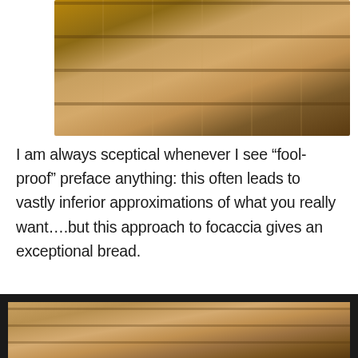[Figure (photo): Stack of sliced focaccia bread pieces on a dark wooden cutting board, viewed from close up showing the airy interior texture, golden crust on a warm brown wooden surface.]
I am always sceptical whenever I see “fool-proof” preface anything: this often leads to vastly inferior approximations of what you really want….but this approach to focaccia gives an exceptional bread.
[Figure (photo): Stack of sliced focaccia bread pieces shown inside a dark-framed video or image player, similar to the top photo showing golden crust and porous interior crumb structure.]